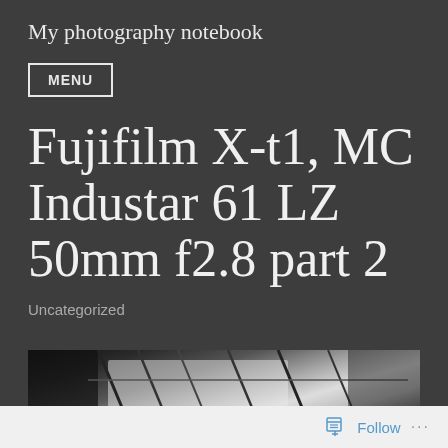My photography notebook
MENU
Fujifilm X-t1, MC Industar 61 LZ 50mm f2.8 part 2
Uncategorized
[Figure (photo): Black and white close-up photograph showing abstract textures, possibly a fence or grid pattern with strong contrast between light and dark areas]
Follow ...